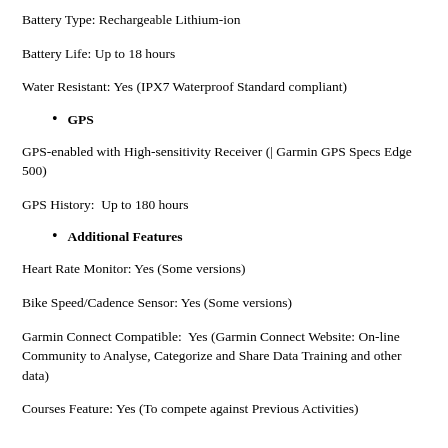Battery Type: Rechargeable Lithium-ion
Battery Life: Up to 18 hours
Water Resistant: Yes (IPX7 Waterproof Standard compliant)
GPS
GPS-enabled with High-sensitivity Receiver (| Garmin GPS Specs Edge 500)
GPS History:  Up to 180 hours
Additional Features
Heart Rate Monitor: Yes (Some versions)
Bike Speed/Cadence Sensor: Yes (Some versions)
Garmin Connect Compatible:  Yes (Garmin Connect Website: Online Community to Analyse, Categorize and Share Data Training and other data)
Courses Feature: Yes (To compete against Previous Activities)